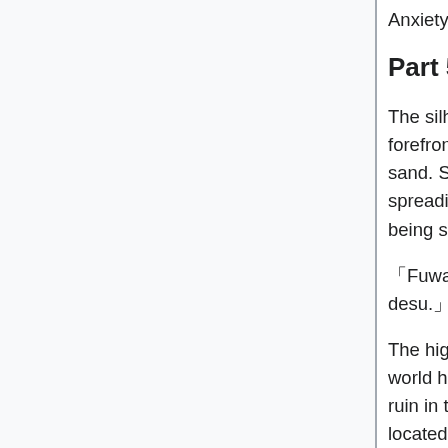Anxiety whirled inside Kizuna's heart.
Part 5
The silhouette of huge triangle shape rose to the forefront inside the air that was blurry due to the sand. Slightly dirty and uneven buildings were spreading all over in front of it like building blocks being scraped together.
「Fuwaaaa……so that's a pyramid desu……amazing desu.」
The highest height was 400 meters in total. It was a world heritage which was the most famous ancient ruin in the world. It was the group of Giza's pyramid located at the outskirt of Egypt's Cairo.
The preparation had been finished by the intelligence department and the investigation of the places that were